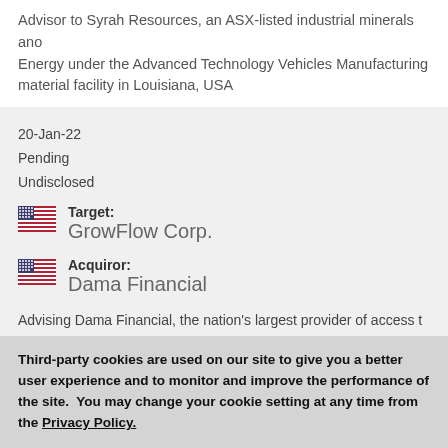Advisor to Syrah Resources, an ASX-listed industrial minerals and Energy under the Advanced Technology Vehicles Manufacturing material facility in Louisiana, USA
20-Jan-22
Pending
Undisclosed
Target: GrowFlow Corp.
Acquiror: Dama Financial
Advising Dama Financial, the nation's largest provider of access of GrowFlow Corp, a leading business management and compliance distributors
Third-party cookies are used on our site to give you a better user experience and to monitor and improve the performance of the site.  You may change your cookie setting at any time from the Privacy Policy.